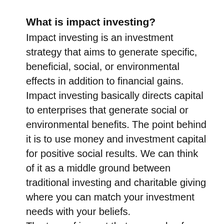What is impact investing?
Impact investing is an investment strategy that aims to generate specific, beneficial, social, or environmental effects in addition to financial gains. Impact investing basically directs capital to enterprises that generate social or environmental benefits. The point behind it is to use money and investment capital for positive social results. We can think of it as a middle ground between traditional investing and charitable giving where you can match your investment needs with your beliefs.
The type of impact that can evolve from impact investing varies basd on